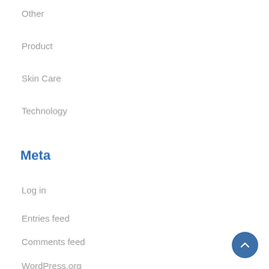Other
Product
Skin Care
Technology
Meta
Log in
Entries feed
Comments feed
WordPress.org